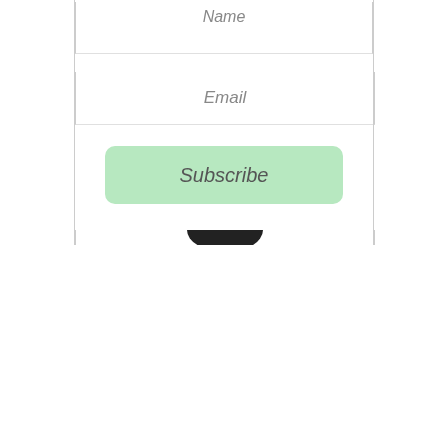[Figure (screenshot): Partially visible web form with Name field, Email field, and a light green Subscribe button, inside a bordered container]
We use cookies and similar technologies to enable services and functionality on our site and to understand your interaction with our service. By clicking on accept, you agree to our use of such technologies for marketing and analytics. See Privacy Policy
Decline All
Accept
Cookie Settings